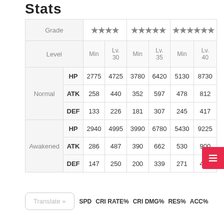Stats
|  | Grade | ★★★★ Min | ★★★★ Lv.30 | ★★★★★ Min | ★★★★★ Lv.35 | ★★★★★★ Min | ★★★★★★ Lv.40 |
| --- | --- | --- | --- | --- | --- | --- | --- |
| Normal | HP | 2775 | 4725 | 3780 | 6420 | 5130 | 8730 |
| Normal | ATK | 258 | 440 | 352 | 597 | 478 | 812 |
| Normal | DEF | 133 | 226 | 181 | 307 | 245 | 417 |
| Awakened | HP | 2940 | 4995 | 3990 | 6780 | 5430 | 9225 |
| Awakened | ATK | 286 | 487 | 390 | 662 | 530 | 900 |
| Awakened | DEF | 147 | 250 | 200 | 339 | 271 | 461 |
SPD   CRI RATE%   CRI DMG%   RES%   ACC%